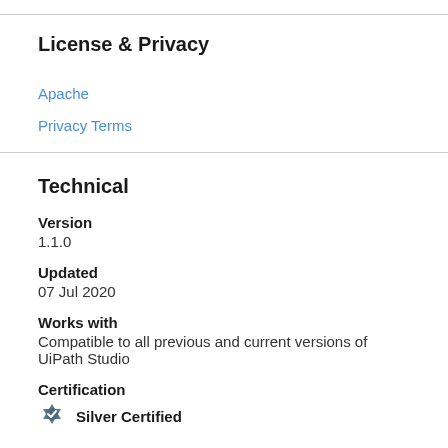License & Privacy
Apache
Privacy Terms
Technical
Version
1.1.0
Updated
07 Jul 2020
Works with
Compatible to all previous and current versions of UiPath Studio
Certification
Silver Certified